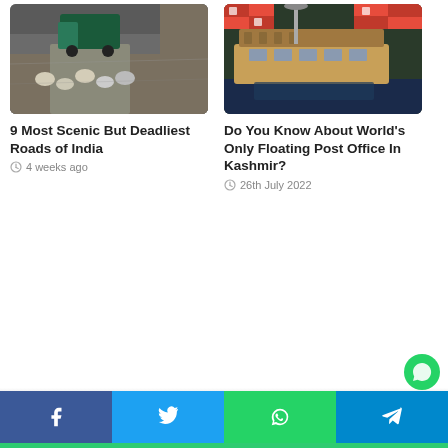[Figure (photo): Mountain road with trucks and sheep/goats on a narrow rocky pass]
9 Most Scenic But Deadliest Roads of India
4 weeks ago
[Figure (photo): A wooden houseboat on water with red-checkered flags and storefronts in Kashmir]
Do You Know About World's Only Floating Post Office In Kashmir?
26th July 2022
Facebook | Twitter | WhatsApp | Telegram